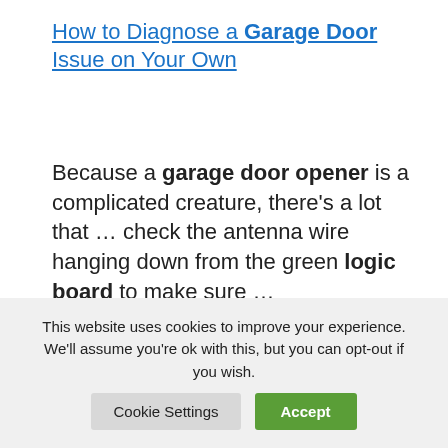How to Diagnose a Garage Door Issue on Your Own
Because a garage door opener is a complicated creature, there's a lot that … check the antenna wire hanging down from the green logic board to make sure …
How to Repair & Not Replace a Circuit Board on a Garage Door …
10 Jul 2017 … When a circuit board is …
This website uses cookies to improve your experience. We'll assume you're ok with this, but you can opt-out if you wish.
Cookie Settings  Accept